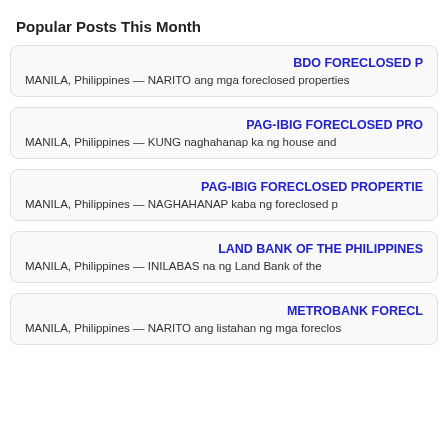Popular Posts This Month
BDO FORECLOSED P
MANILA, Philippines — NARITO ang mga foreclosed properties
PAG-IBIG FORECLOSED PRO
MANILA, Philippines — KUNG naghahanap ka ng house and
PAG-IBIG FORECLOSED PROPERTIE
MANILA, Philippines — NAGHAHANAP kaba ng foreclosed p
LAND BANK OF THE PHILIPPINES
MANILA, Philippines — INILABAS na ng Land Bank of the
METROBANK FORECL
MANILA, Philippines — NARITO ang listahan ng mga foreclos